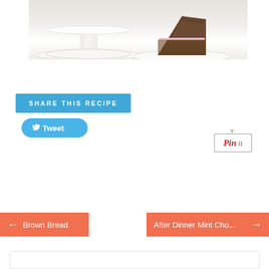[Figure (photo): Photo of a chocolate cake slice with pink filling on a white cake stand pedestal and plate, on a white background]
SHARE THIS RECIPE
[Figure (screenshot): Tweet button with Twitter bird icon]
[Figure (screenshot): Pinterest Pin it button]
Brown Bread
After Dinner Mint Cho...